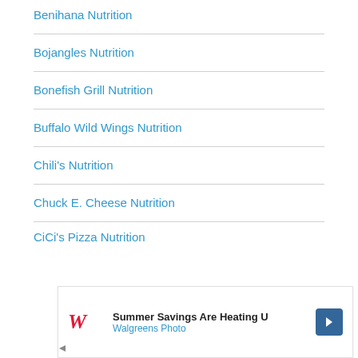Benihana Nutrition
Bojangles Nutrition
Bonefish Grill Nutrition
Buffalo Wild Wings Nutrition
Chili's Nutrition
Chuck E. Cheese Nutrition
CiCi's Pizza Nutrition
[Figure (other): Walgreens Photo advertisement banner: 'Summer Savings Are Heating U' with Walgreens logo and navigation arrow icon]